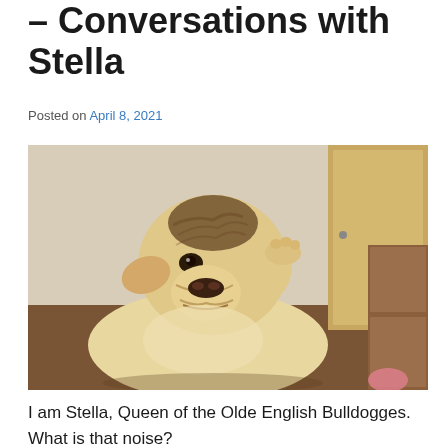– Conversations with Stella
Posted on April 8, 2021
[Figure (photo): A bulldog (Stella) sitting and looking upward with its paw raised near its face, in a room with a beige wall, wooden door, and dark floor.]
I am Stella, Queen of the Olde English Bulldogges. What is that noise?